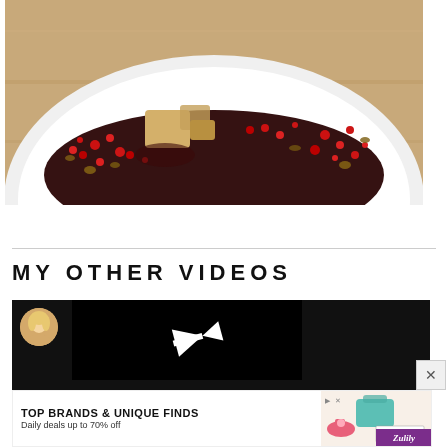[Figure (photo): Close-up food photo of a white plate with dark sauce, red pomegranate seeds, walnuts, and pieces of bread or biscuit on a wooden surface background]
MY OTHER VIDEOS
[Figure (screenshot): Video player thumbnail with black background and white play arrow icon, with a circular avatar of a woman in the top left corner]
[Figure (screenshot): Advertisement banner for Zulily: TOP BRANDS & UNIQUE FINDS, Daily deals up to 70% off, SHOP NOW button, with product images of bags and shoes, purple Zulily branding]